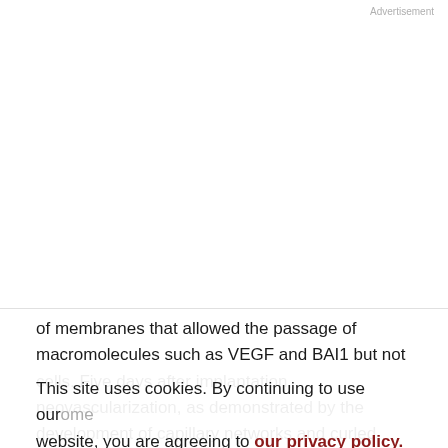Advertisement
of membranes that allowed the passage of macromolecules such as VEGF and BAI1 but not cells. Five days after implantation, neovascularization, as demonstrated by the development of capillary networks and curled microvessels in addition to the preexisting vessels, occurred in the dorsal subcutis touched by the chamber, which contained mock-infected or Ad5RSVLuc-infected H226Br cells; infection with Ad5CMVp53
This site uses cookies. By continuing to use our website, you are agreeing to our privacy policy. Accept
development of curled microvessels, which were